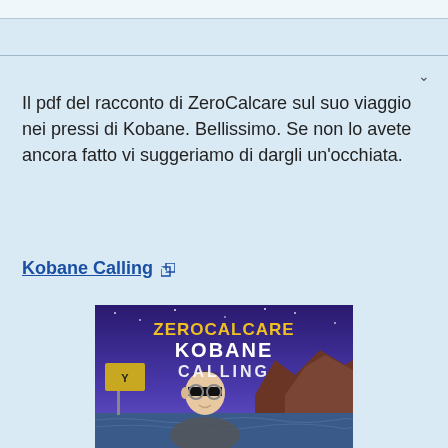Il pdf del racconto di ZeroCalcare sul suo viaggio nei pressi di Kobane. Bellissimo. Se non lo avete ancora fatto vi suggeriamo di dargli un'occhiata.
Kobane Calling [external link]
[Figure (illustration): Book cover of 'Kobane Calling' by Zerocalcare. Shows a stylized cartoon character with black bar over eyes, set against a purple/blue sky with rocky terrain in background. Yellow text reads 'ZEROCALCARE' at top, white distressed text reads 'KOBANE CALLING' below.]